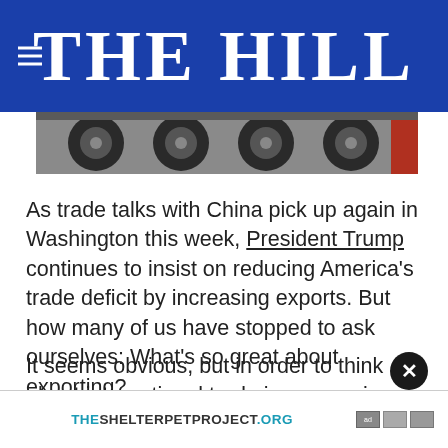THE HILL
[Figure (photo): Photograph of truck tires/trailer undercarriage, partially visible at top of article]
As trade talks with China pick up again in Washington this week, President Trump continues to insist on reducing America's trade deficit by increasing exports. But how many of us have stopped to ask ourselves: What's so great about exporting?
It seems obvious, but in order to think about international trade in economic terms, not in politi... a couple...
[Figure (screenshot): Advertisement banner for THESHELTERPETPROJECT.ORG with ad icons and a close (X) button overlay]